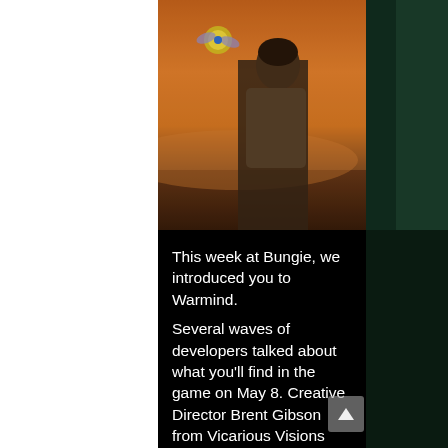[Figure (photo): Screenshot from Destiny 2: Warmind showing a character (Guardian) with a floating drone/Ghost companion against a dramatic orange/golden sky with mountains in the background.]
This week at Bungie, we introduced you to Warmind.
Several waves of developers talked about what you'll find in the game on May 8. Creative Director Brent Gibson from Vicarious Visions joined Design Lead Evan Nikolich from Bungie on our Twitch stream to talk about Destiny 2: Warmind. It was our first conversation about a new story created by two studios working as partners. After a quick tour of Hellas